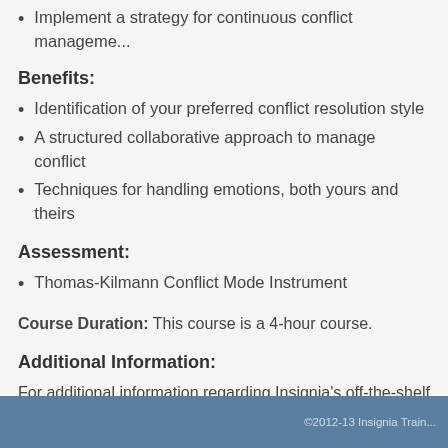Implement a strategy for continuous conflict management
Benefits:
Identification of your preferred conflict resolution style
A structured collaborative approach to manage conflict
Techniques for handling emotions, both yours and theirs
Assessment:
Thomas-Kilmann Conflict Mode Instrument
Course Duration: This course is a 4-hour course.
Additional Information:
For additional information regarding Insignia's off-the-shelf courses, customized needs of your organization, and pricing, please contact us @ ... We look forward to hearing from you.
©2012-13 Insignia Training